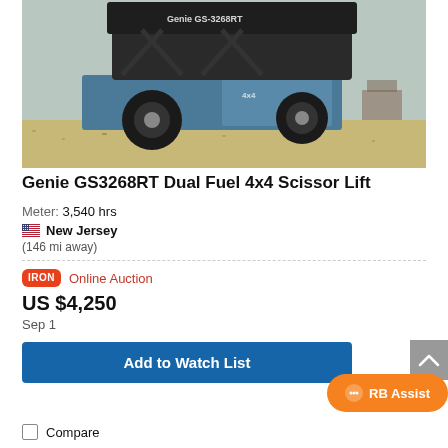[Figure (photo): Genie GS3268RT Dual Fuel 4x4 Scissor Lift photographed from the rear, showing the machine's blue body, large tires, and scissor mechanism raised slightly, parked on a gravel lot.]
Genie GS3268RT Dual Fuel 4x4 Scissor Lift
Meter: 3,540 hrs
🇺🇸 New Jersey
(146 mi away)
IRON Online Auction
US $4,250
Sep 1
Add to Watch List
RB Assist
Compare